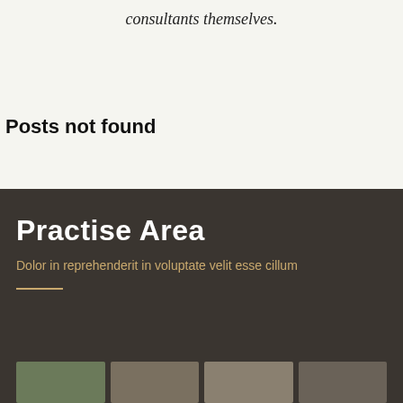consultants themselves.
Posts not found
Practise Area
Dolor in reprehenderit in voluptate velit esse cillum
[Figure (photo): Row of thumbnail images at the bottom of the dark section]